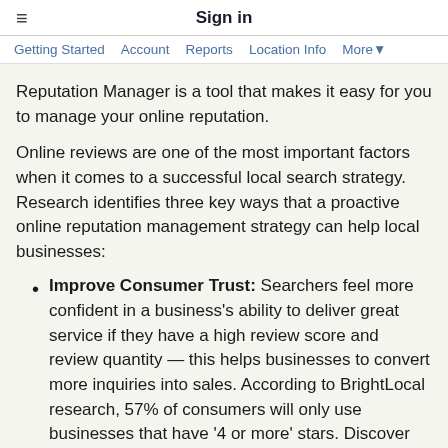Sign in
Getting Started  Account  Reports  Location Info  More▼
Reputation Manager is a tool that makes it easy for you to manage your online reputation.
Online reviews are one of the most important factors when it comes to a successful local search strategy. Research identifies three key ways that a proactive online reputation management strategy can help local businesses:
Improve Consumer Trust: Searchers feel more confident in a business's ability to deliver great service if they have a high review score and review quantity — this helps businesses to convert more inquiries into sales. According to BrightLocal research, 57% of consumers will only use businesses that have '4 or more' stars. Discover more about this here.
Improve Click-through Rate: Google returns star